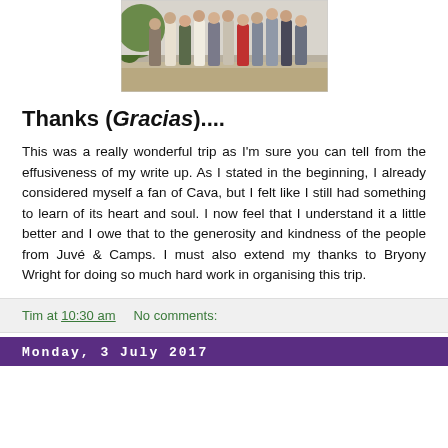[Figure (photo): Group photo of people standing outdoors on a dusty/dry ground with greenery in background]
Thanks (Gracias)....
This was a really wonderful trip as I'm sure you can tell from the effusiveness of my write up. As I stated in the beginning, I already considered myself a fan of Cava, but I felt like I still had something to learn of its heart and soul. I now feel that I understand it a little better and I owe that to the generosity and kindness of the people from Juvé & Camps. I must also extend my thanks to Bryony Wright for doing so much hard work in organising this trip.
Tim at 10:30 am    No comments:
Monday, 3 July 2017